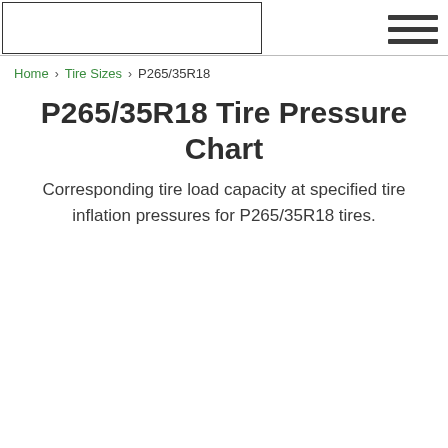Home › Tire Sizes › P265/35R18
P265/35R18 Tire Pressure Chart
Corresponding tire load capacity at specified tire inflation pressures for P265/35R18 tires.